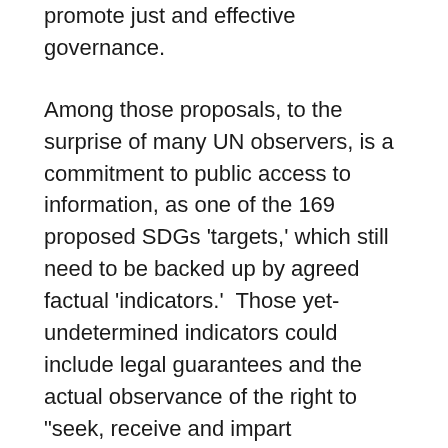promote just and effective governance.
Among those proposals, to the surprise of many UN observers, is a commitment to public access to information, as one of the 169 proposed SDGs ‘targets,’ which still need to be backed up by agreed factual ‘indicators.’  Those yet-undetermined indicators could include legal guarantees and the actual observance of the right to “seek, receive and impart information and ideas, through any media and regardless of frontiers” – to cite the prescient but nonbinding language of the Universal Declaration of Human Rights.
World leaders and development experts advising the UN on the post-2015 goals have